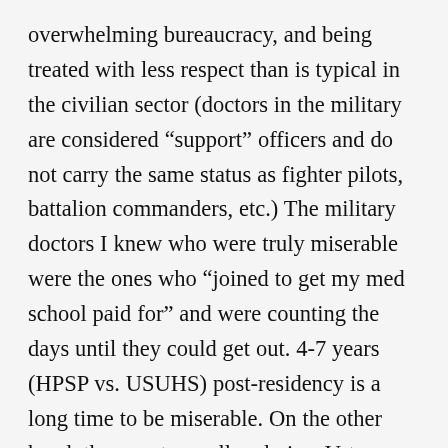overwhelming bureaucracy, and being treated with less respect than is typical in the civilian sector (doctors in the military are considered “support” officers and do not carry the same status as fighter pilots, battalion commanders, etc.) The military doctors I knew who were truly miserable were the ones who “joined to get my med school paid for” and were counting the days until they could get out. 4-7 years (HPSP vs. USUHS) post-residency is a long time to be miserable. On the other hand, the country really admires Veterans nowadays and I recall many instances of people letting me board a flight first (while travelling in uniform) or even offering to buy my dinner while I was waiting in the airport terminal. I am now out of